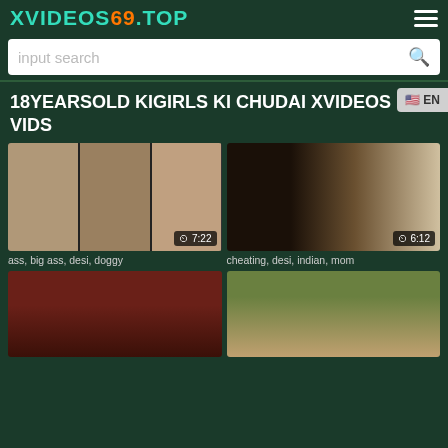XVIDEOS69.TOP
input search
18YEARSOLD KIGIRLS KI CHUDAI XVIDEOS VIDS
[Figure (screenshot): Video thumbnail showing multiple scenes, duration 7:22]
ass, big ass, desi, doggy
[Figure (screenshot): Video thumbnail showing indoor scene, duration 6:12]
cheating, desi, indian, mom
[Figure (screenshot): Video thumbnail, partial view]
[Figure (screenshot): Video thumbnail showing face close-up]